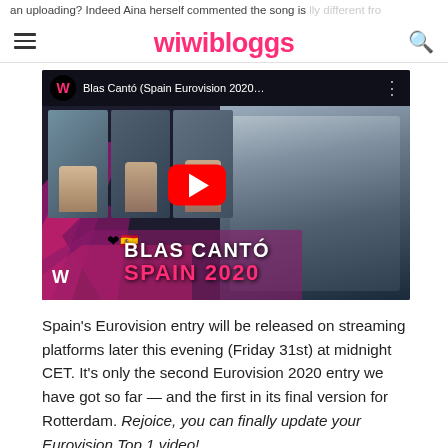wiwibloggs
[Figure (screenshot): YouTube-style video thumbnail for Blas Cantó (Spain Eurovision 2020). Shows wiwibloggs W logo, video title 'Blas Cantó (Spain Eurovision 2020...', three person thumbnails on left, red YouTube play button in center, portrait of Blas Cantó on right, decorative pink/purple diagonal stripes, heart with Spanish flag emoji, text 'BLAS CANTÓ' in white bold and 'SPAIN 2020' in pink bold, W logo bottom left.]
Spain's Eurovision entry will be released on streaming platforms later this evening (Friday 31st) at midnight CET. It's only the second Eurovision 2020 entry we have got so far — and the first in its final version for Rotterdam. Rejoice, you can finally update your Eurovision Top 1 video!